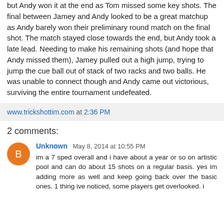but Andy won it at the end as Tom missed some key shots. The final between Jamey and Andy looked to be a great matchup as Andy barely won their preliminary round match on the final shot. The match stayed close towards the end, but Andy took a late lead. Needing to make his remaining shots (and hope that Andy missed them), Jamey pulled out a high jump, trying to jump the cue ball out of stack of two racks and two balls. He was unable to connect though and Andy came out victorious, surviving the entire tournament undefeated.
www.trickshottim.com at 2:36 PM
2 comments:
Unknown May 8, 2014 at 10:55 PM
im a 7 sped overall and i have about a year or so on artistic pool and can do about 15 shots on a regular basis. yes im adding more as well and keep going back over the basic ones. 1 thing ive noticed, some players get overlooked. i